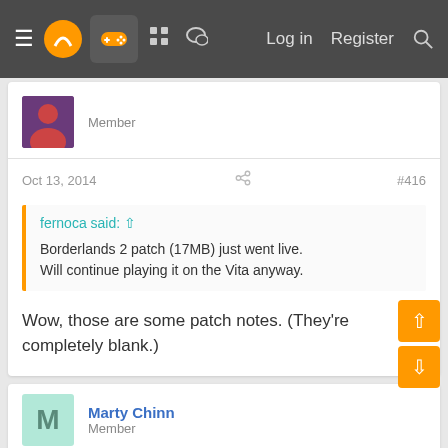≡  [logo]  [gamepad icon]  [grid icon]  [chat icon]  Log in  Register  [search icon]
Member
Oct 13, 2014  #416
fernoca said: ↑
Borderlands 2 patch (17MB) just went live.
Will continue playing it on the Vita anyway.
Wow, those are some patch notes. (They're completely blank.)
Marty Chinn
Member
Oct 13, 2014
DoctorWho said: ↑